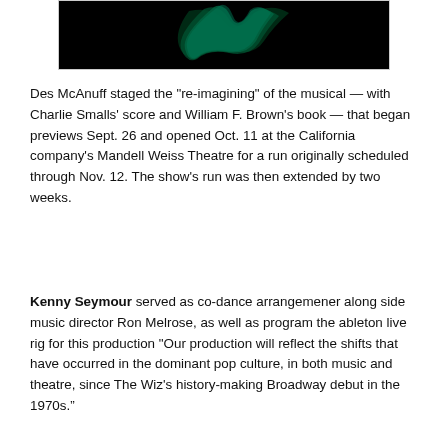[Figure (photo): A dark image with green lighting/aurora effect against a black background, partially visible at top of page]
Des McAnuff staged the "re-imagining" of the musical — with Charlie Smalls' score and William F. Brown's book — that began previews Sept. 26 and opened Oct. 11 at the California company's Mandell Weiss Theatre for a run originally scheduled through Nov. 12. The show's run was then extended by two weeks.
Kenny Seymour served as co-dance arrangemener along side music director Ron Melrose, as well as program the ableton live rig for this production "Our production will reflect the shifts that have occurred in the dominant pop culture, in both music and theatre, since The Wiz's history-making Broadway debut in the 1970s." [continues]